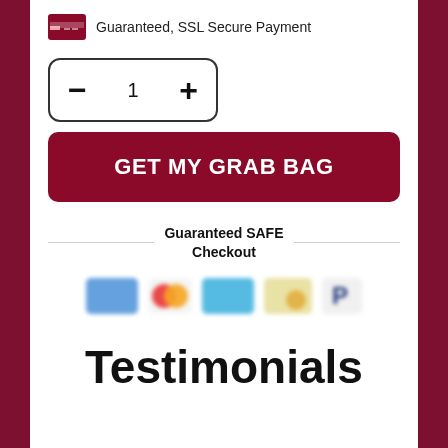Guaranteed, SSL Secure Payment
[Figure (infographic): Quantity selector box with minus button, number 1, and plus button]
GET MY GRAB BAG
Guaranteed SAFE Checkout
[Figure (infographic): Blurred payment method icons: Visa, Mastercard, American Express, another card, PayPal]
Testimonials